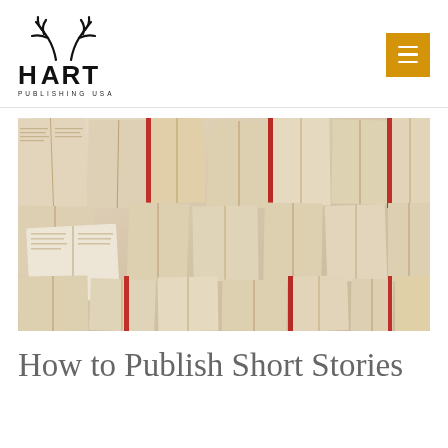[Figure (logo): Hart Publishing USA logo with antler illustration above the text HART and subtitle PUBLISHING USA]
[Figure (photo): Collection of open books spread across a surface, pages fanned out, warm beige/tan tones with red book spines visible]
How to Publish Short Stories